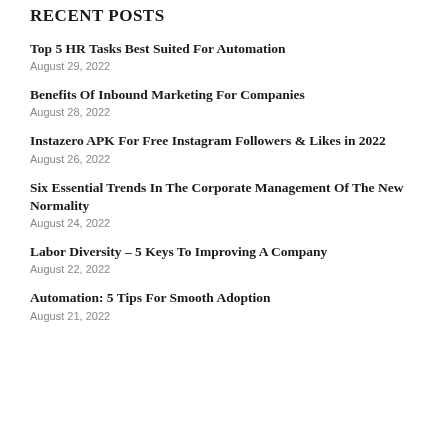RECENT POSTS
Top 5 HR Tasks Best Suited For Automation
August 29, 2022
Benefits Of Inbound Marketing For Companies
August 28, 2022
Instazero APK For Free Instagram Followers & Likes in 2022
August 26, 2022
Six Essential Trends In The Corporate Management Of The New Normality
August 24, 2022
Labor Diversity – 5 Keys To Improving A Company
August 22, 2022
Automation: 5 Tips For Smooth Adoption
August 21, 2022